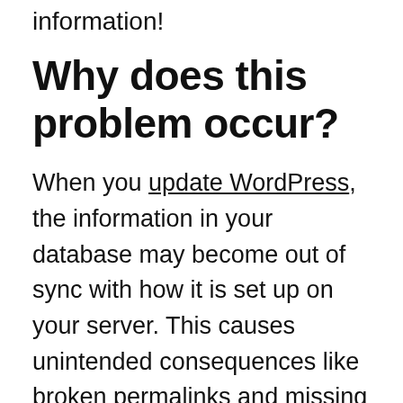information!
Why does this problem occur?
When you update WordPress, the information in your database may become out of sync with how it is set up on your server. This causes unintended consequences like broken permalinks and missing posts. Fortunately, most problems can be fixed within a few minutes.
Method 1: Correcting